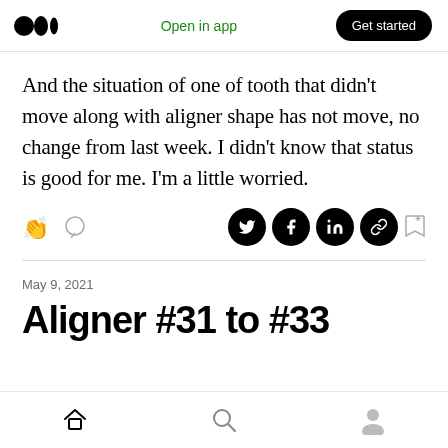Open in app | Get started
And the situation of one of tooth that didn't move along with aligner shape has not move, no change from last week. I didn't know that status is good for me. I'm a little worried.
May 9, 2021
Aligner #31 to #33